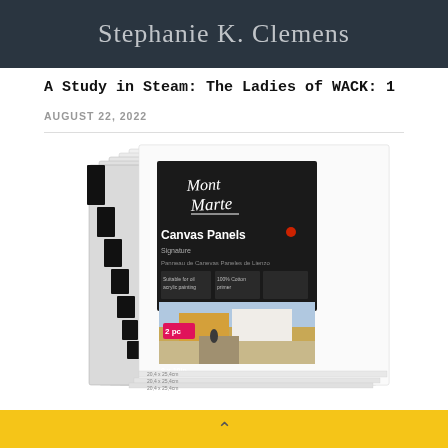Stephanie K. Clemens
A Study in Steam: The Ladies of WACK: 1
AUGUST 22, 2022
[Figure (photo): Mont Marte Canvas Panels Signature product packaging showing a stack of white canvas boards with a black label, 2-piece set, 8x10in size, with a street scene image on the packaging.]
^